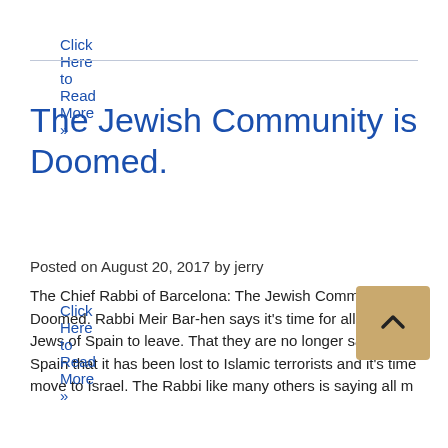Click Here to Read More »
The Jewish Community is Doomed.
Posted on August 20, 2017 by jerry
The Chief Rabbi of Barcelona: The Jewish Community is Doomed. Rabbi Meir Bar-hen says it's time for all the Jews of Spain to leave. That they are no longer safe in Spain that it has been lost to Islamic terrorists and it's time move to Israel. The Rabbi like many others is saying all m
Click Here to Read More »